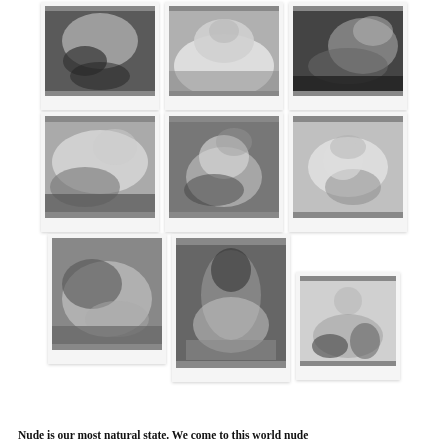[Figure (photo): Grid of 9 black and white polaroid-style photographs showing artistic nude figure studies]
Nude is our most natural state. We come to this world nude